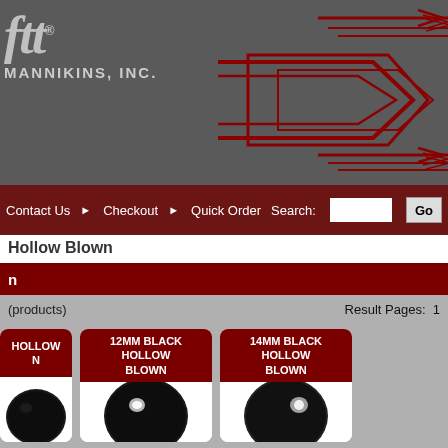[Figure (logo): Swiftt Mannikins Inc logo with red decorative arrow lines on grey background]
Contact Us  Checkout  Quick Order  Search: [input] Go
Hollow Blown
n
(products)  Result Pages: 1
[Figure (photo): Product card (partially cut): black hollow blown eye]
[Figure (photo): 12MM BLACK HOLLOW BLOWN - black round eye product]
[Figure (photo): 14MM BLACK HOLLOW BLOWN - black round eye product]